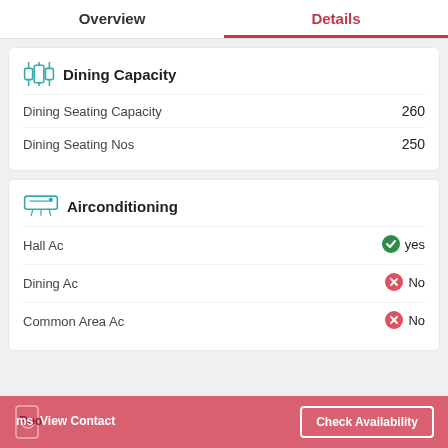Overview | Details
Dining Capacity
Dining Seating Capacity: 260
Dining Seating Nos: 250
Airconditioning
Hall Ac: yes
Dining Ac: No
Common Area Ac: No
Rooms | View Contact | Check Availability